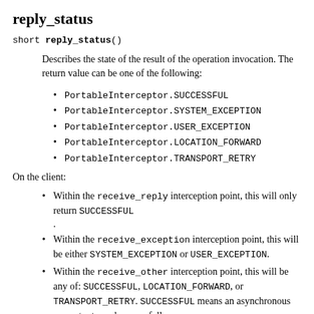reply_status
short reply_status()
Describes the state of the result of the operation invocation. The return value can be one of the following:
PortableInterceptor.SUCCESSFUL
PortableInterceptor.SYSTEM_EXCEPTION
PortableInterceptor.USER_EXCEPTION
PortableInterceptor.LOCATION_FORWARD
PortableInterceptor.TRANSPORT_RETRY
On the client:
Within the receive_reply interception point, this will only return SUCCESSFUL
.
Within the receive_exception interception point, this will be either SYSTEM_EXCEPTION or USER_EXCEPTION.
Within the receive_other interception point, this will be any of: SUCCESSFUL, LOCATION_FORWARD, or TRANSPORT_RETRY. SUCCESSFUL means an asynchronous request returned successfully.
LOCATION_FORWARD means that a reply came back with